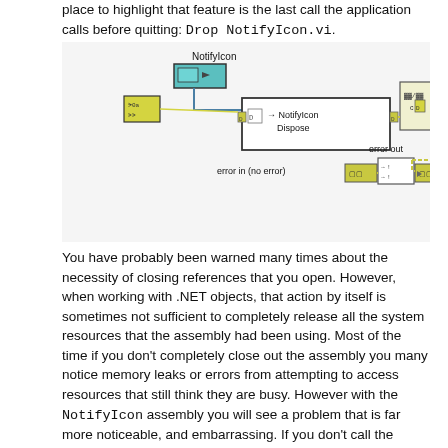place to highlight that feature is the last call the application calls before quitting: Drop NotifyIcon.vi.
[Figure (screenshot): LabVIEW block diagram showing NotifyIcon Dispose VI with error in (no error) and error out terminals connected.]
You have probably been warned many times about the necessity of closing references that you open. However, when working with .NET objects, that action by itself is sometimes not sufficient to completely release all the system resources that the assembly had been using. Most of the time if you don't completely close out the assembly you many notice memory leaks or errors from attempting to access resources that still think they are busy. However with the NotifyIcon assembly you will see a problem that is far more noticeable, and embarrassing. If you don't call the Dispose method your